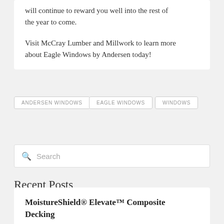will continue to reward you well into the rest of the year to come.

Visit McCray Lumber and Millwork to learn more about Eagle Windows by Andersen today!
ANDERSEN WINDOWS
EAGLE WINDOWS
WINDOWS
Search
Recent Posts
MoistureShield® Elevate™ Composite Decking